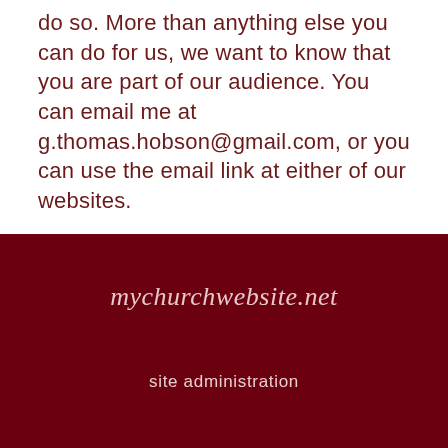do so. More than anything else you can do for us, we want to know that you are part of our audience. You can email me at g.thomas.hobson@gmail.com, or you can use the email link at either of our websites.
[Figure (logo): mychurchwebsite.net logo in cursive script on dark red background]
site administration